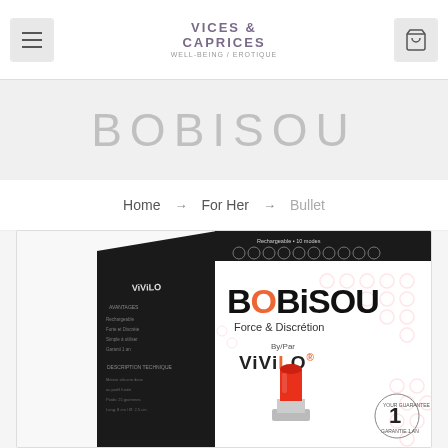VICES & CAPRICES — Well-being / Erotique
BOBISOU
Home → For Her → Bullet
[Figure (photo): Product packaging box for BOBISOU by ViViLO — Force & Discrétion — showing a lipstick-shaped device in red and silver on a white box with pink circle pattern and a 1-year guarantee badge. The box has a black side panel with ViViLO branding and product features listed in French.]